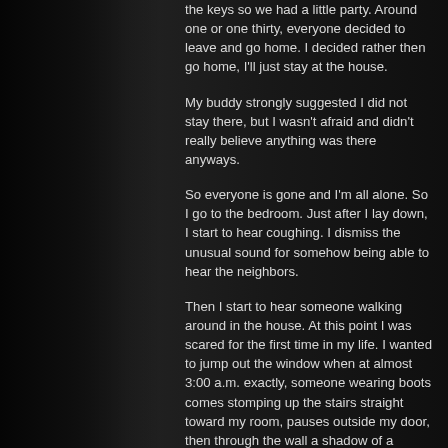the keys so we had a little party. Around one or one thirty, everyone decided to leave and go home. I decided rather then go home, I'll just stay at the house.
My buddy strongly suggested I did not stay there, but I wasn't afraid and didn't really believe anything was there anyways.
So everyone is gone and I'm all alone. So I go to the bedroom. Just after I lay down, I start to hear coughing. I dismiss the unusual sound for somehow being able to hear the neighbors.
Then I start to hear someone walking around in the house. At this point I was scared for the first time in my life. I wanted to jump out the window when at almost 3:00 a.m. exactly, someone wearing boots comes stomping up the stairs straight toward my room, pauses outside my door, then through the wall a shadow of a humanlike figure started to form in the room with me.